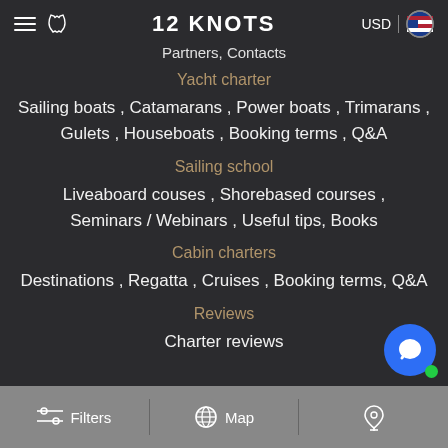12 KNOTS | USD
Partners, Contacts
Yacht charter
Sailing boats , Catamarans , Power boats , Trimarans , Gulets , Houseboats , Booking terms , Q&A
Sailing school
Liveaboard couses , Shorebased courses , Seminars / Webinars , Useful tips, Books
Cabin charters
Destinations , Regatta , Cruises , Booking terms, Q&A
Reviews
Charter reviews
Filters | Map